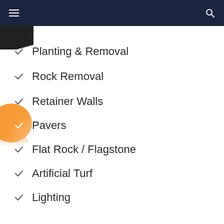Navigation bar with hamburger menu and search icon
Planting & Removal
Rock Removal
Retainer Walls
Pavers
Flat Rock / Flagstone
Artificial Turf
Lighting
Water Features
Lawn & Garden Care
Tree and Shrub Pruning